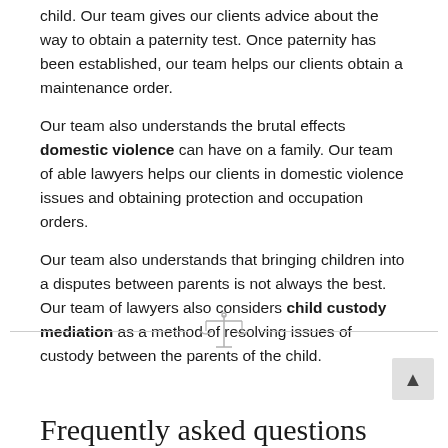child. Our team gives our clients advice about the way to obtain a paternity test. Once paternity has been established, our team helps our clients obtain a maintenance order.
Our team also understands the brutal effects domestic violence can have on a family. Our team of able lawyers helps our clients in domestic violence issues and obtaining protection and occupation orders.
Our team also understands that bringing children into a disputes between parents is not always the best. Our team of lawyers also considers child custody mediation as a method of resolving issues of custody between the parents of the child.
[Figure (illustration): Decorative divider with a scales of justice icon centered between two horizontal lines]
Frequently asked questions